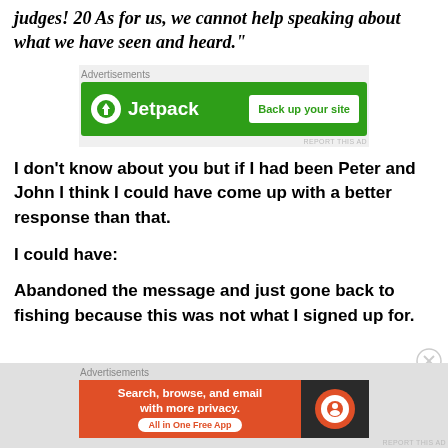judges! 20 As for us, we cannot help speaking about what we have seen and heard."
[Figure (screenshot): Jetpack advertisement banner: green background with Jetpack logo and 'Back up your site' button]
I don’t know about you but if I had been Peter and John I think I could have come up with a better response than that.
I could have:
Abandoned the message and just gone back to fishing because this was not what I signed up for.
[Figure (screenshot): DuckDuckGo advertisement banner: orange and dark background with 'Search, browse, and email with more privacy. All in One Free App' text and DuckDuckGo logo]